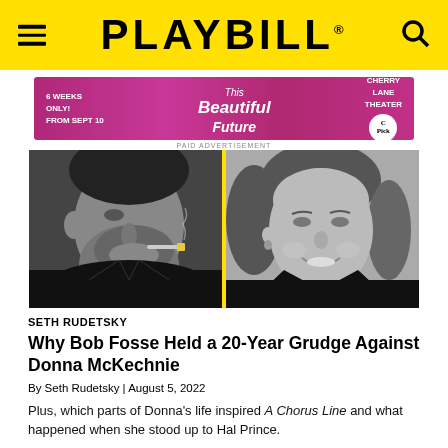PLAYBILL
[Figure (other): Advertisement banner: '6 WEEKS ONLY! FROM SEPT 10 - This Beautiful Future - CHERRY LANE THEATER' with NY Times Critic's Pick badge]
PAID ADVERTISEMENT
[Figure (photo): Split black-and-white photo: left side shows a man smoking a cigarette (Bob Fosse), right side shows a smiling woman (Donna McKechnie), divided by a yellow vertical line]
SETH RUDETSKY
Why Bob Fosse Held a 20-Year Grudge Against Donna McKechnie
By Seth Rudetsky | August 5, 2022
Plus, which parts of Donna's life inspired A Chorus Line and what happened when she stood up to Hal Prince.